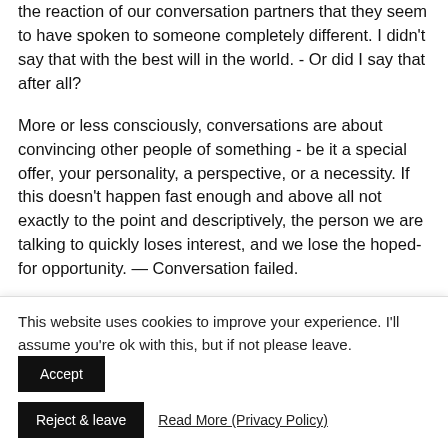Sometimes we say things and then later notice from the reaction of our conversation partners that they seem to have spoken to someone completely different. I didn't say that with the best will in the world. - Or did I say that after all?
More or less consciously, conversations are about convincing other people of something - be it a special offer, your personality, a perspective, or a necessity. If this doesn't happen fast enough and above all not exactly to the point and descriptively, the person we are talking to quickly loses interest, and we lose the hoped-for opportunity. — Conversation failed.
This website uses cookies to improve your experience. I'll assume you're ok with this, but if not please leave.